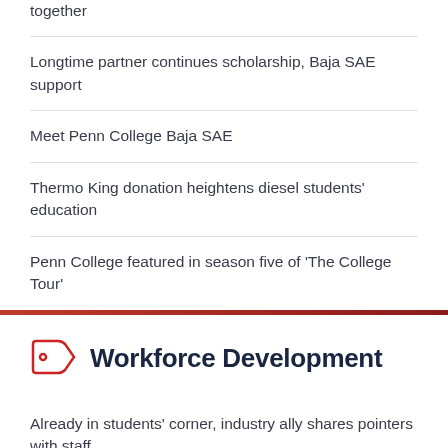together
Longtime partner continues scholarship, Baja SAE support
Meet Penn College Baja SAE
Thermo King donation heightens diesel students' education
Penn College featured in season five of 'The College Tour'
Workforce Development
Already in students' corner, industry ally shares pointers with staff
QuickBooks accounting software classes offered at Penn College